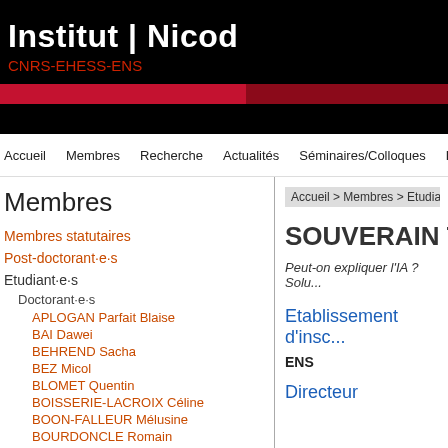Institut | Nicod
CNRS-EHESS-ENS
Accueil | Membres | Recherche | Actualités | Séminaires/Colloques | Etudier à l'I...
Membres
Membres statutaires
Post-doctorant·e·s
Etudiant·e·s
Doctorant·e·s
APLOGAN Parfait Blaise
BAI Dawei
BEHREND Sacha
BEZ Micol
BLOMET Quentin
BOISSERIE-LACROIX Céline
BOON-FALLEUR Mélusine
BOURDONCLE Romain
Accueil > Membres > Etudia...
SOUVERAIN T...
Peut-on expliquer l'IA ? Solu...
Etablissement d'insc...
ENS
Directeur